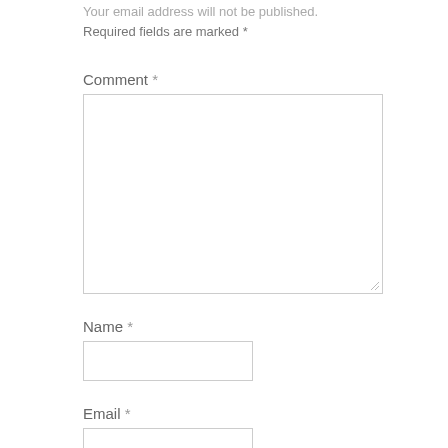Your email address will not be published. Required fields are marked *
Comment *
[Figure (other): Comment textarea input box (empty)]
Name *
[Figure (other): Name text input box (empty)]
Email *
[Figure (other): Email text input box (empty, partially visible)]